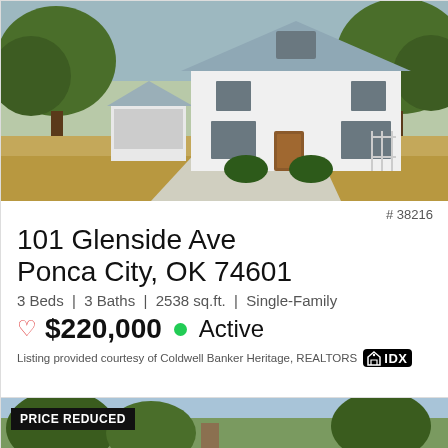[Figure (photo): Two-story white colonial house with gray shutters, brown front door, attached garage, large trees, green lawn. Exterior daytime photo.]
# 38216
101 Glenside Ave
Ponca City, OK 74601
3 Beds | 3 Baths | 2538 sq.ft. | Single-Family
♡ $220,000 ● Active
Listing provided courtesy of Coldwell Banker Heritage, REALTORS
[Figure (photo): Partial view of another property listing showing trees and sky. Badge reads PRICE REDUCED.]